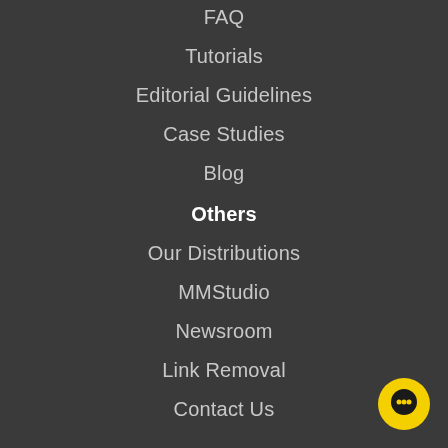FAQ
Tutorials
Editorial Guidelines
Case Studies
Blog
Others
Our Distributions
MMStudio
Newsroom
Link Removal
Contact Us
[Figure (illustration): Yellow circular chat button with black chat icon in bottom-right corner]